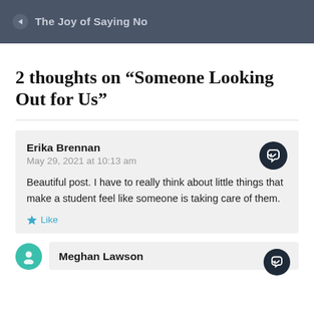The Joy of Saying No
2 thoughts on “Someone Looking Out for Us”
Erika Brennan
May 29, 2021 at 10:13 am
Beautiful post. I have to really think about little things that make a student feel like someone is taking care of them.
Like
Meghan Lawson